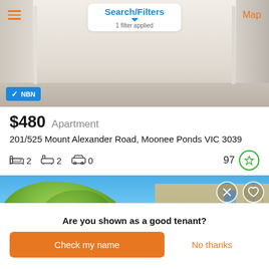[Figure (screenshot): Top navigation bar with hamburger menu, Search/Filters button with dropdown arrow, '1 filter applied' text, and Map link]
[Figure (photo): Interior hallway photo of apartment with light wood floors and white walls, NBN badge in bottom left]
$480  Apartment
201/525 Mount Alexander Road, Moonee Ponds VIC 3039
[bed icon] 2  [bath icon] 2  [car icon] 0   97
[Figure (photo): Exterior photo of property at street level with large green trees and beige multi-storey building, blue sky, action icons top right]
Are you shown as a good tenant?
Check my name
No thanks